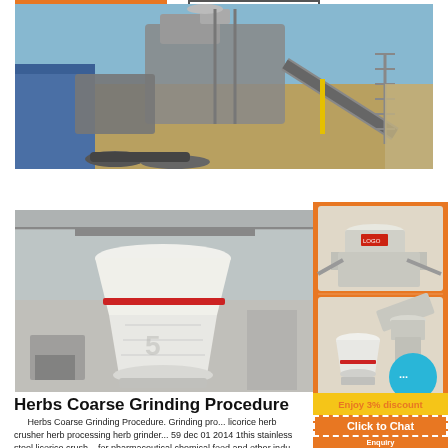[Figure (photo): Outdoor industrial coarse crushing/grinding plant with heavy machinery, conveyors, and equipment under blue sky]
[Figure (photo): White cone crusher machine inside an industrial warehouse facility]
[Figure (photo): Orange sidebar advertisement showing multiple crusher/grinding machine models with chat and enquiry buttons]
Herbs Coarse Grinding Procedure
Herbs Coarse Grinding Procedure. Grinding pro... licorice herb crusher herb processing herb grinder... 59 dec 01 2014 1this stainless steel licorice crush... for pharmaceutical chemical food and other indu...